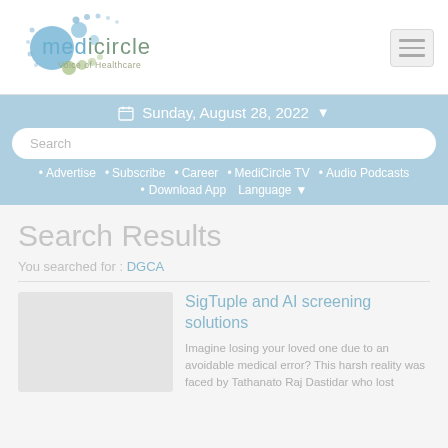[Figure (logo): Medicircle logo with blue and green circles and text 'medicircle Voice of Healthcare']
Sunday, August 28, 2022
• Advertise  • Subscribe  • Career  • MediCircle TV  • Audio Podcasts  • Download App  Language
Search Results
You searched for : DGCA
SigTuple and AI screening solutions
Imagine losing your loved one due to an avoidable medical error? This harsh reality was faced by Tathanato Raj Dastidar who lost